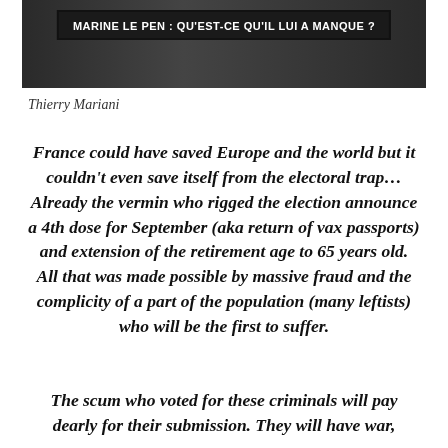[Figure (screenshot): TV screenshot with text overlay: MARINE LE PEN : QU'EST-CE QU'IL LUI A MANQUE ?]
Thierry Mariani
France could have saved Europe and the world but it couldn’t even save itself from the electoral trap… Already the vermin who rigged the election announce a 4th dose for September (aka return of vax passports) and extension of the retirement age to 65 years old. All that was made possible by massive fraud and the complicity of a part of the population (many leftists) who will be the first to suffer.
The scum who voted for these criminals will pay dearly for their submission. They will have war,